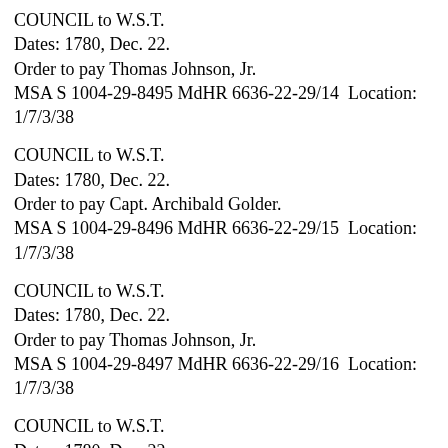COUNCIL to W.S.T.
Dates: 1780, Dec. 22.
Order to pay Thomas Johnson, Jr.
MSA S 1004-29-8495 MdHR 6636-22-29/14  Location: 1/7/3/38
COUNCIL to W.S.T.
Dates: 1780, Dec. 22.
Order to pay Capt. Archibald Golder.
MSA S 1004-29-8496 MdHR 6636-22-29/15  Location: 1/7/3/38
COUNCIL to W.S.T.
Dates: 1780, Dec. 22.
Order to pay Thomas Johnson, Jr.
MSA S 1004-29-8497 MdHR 6636-22-29/16  Location: 1/7/3/38
COUNCIL to W.S.T.
Dates: 1780, Dec. 22.
Order to pay Daniel Carroll.
MSA S 1004-29-8498 MdHR 6636-22-29/17  Location: 1/7/3/38
COUNCIL to W.S.T.
Dates: 1780, Dec. 22.
Order to pay Lt. John Carr for stores.
MSA S 1004-29-8499 MdHR 6636-22-29/18  Location: 1/7/3/38
COUNCIL to W.S.T.